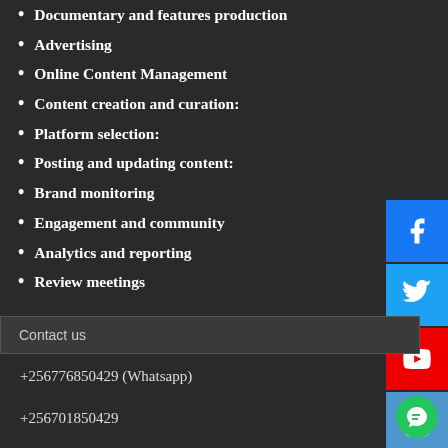Documentary and features production
Advertising
Online Content Management
Content creation and curation:
Platform selection:
Posting and updating content:
Brand monitoring
Engagement and community
Analytics and reporting
Review meetings
Contact us
+256776850429 (Whatsapp)
+256701850429